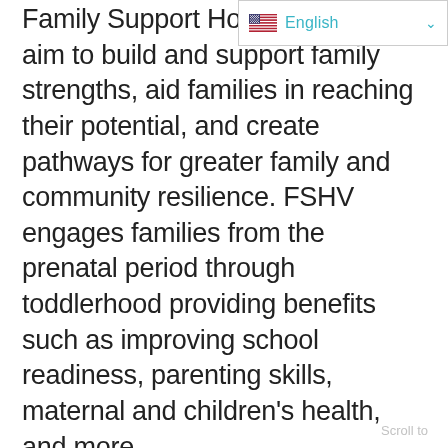[Figure (screenshot): Language selector dropdown showing English with US flag and dropdown arrow, styled with teal/cyan color]
Family Support Home programs aim to build and support family strengths, aid families in reaching their potential, and create pathways for greater family and community resilience. FSHV engages families from the prenatal period through toddlerhood providing benefits such as improving school readiness, parenting skills, maternal and children's health, and more.
Parents and guardians experience unique transitions when they become caregivers of newborns and children. While children grow and change rapidly, caregivers may not have the information, experience, or tools to move into each stage confidently. FSHV is a means to strengthen